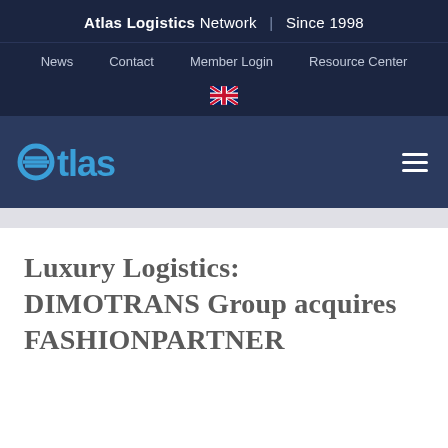Atlas Logistics Network | Since 1998
News  Contact  Member Login  Resource Center
[Figure (logo): Atlas Logistics Network logo — stylized 'atlas' wordmark in blue with stacked lines icon, on dark blue background]
Luxury Logistics: DIMOTRANS Group acquires FASHIONPARTNER